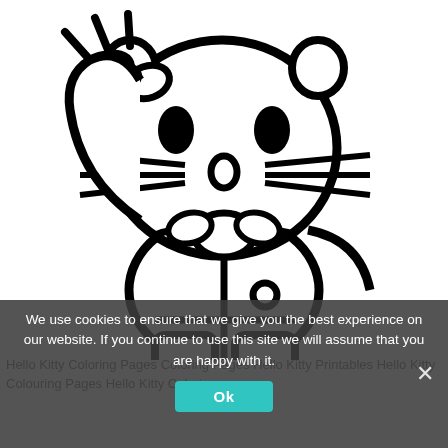[Figure (illustration): Hello Kitty coloring page line drawing — Hello Kitty facing forward with bow, raised hand, and overalls, black outlines on white background]
We use cookies to ensure that we give you the best experience on our website. If you continue to use this site we will assume that you are happy with it.
Hello Kitty Coloring Pages Coloring Pages Hello Kitty Printables Hello Kitty Colouring Pages Hello Kitty Coloring